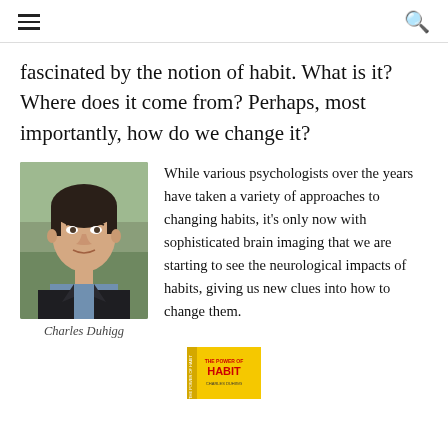☰  🔍
fascinated by the notion of habit. What is it? Where does it come from? Perhaps, most importantly, how do we change it?
[Figure (photo): Headshot of Charles Duhigg, a man with dark hair wearing a dark jacket and blue shirt, outdoors with green background.]
Charles Duhigg
While various psychologists over the years have taken a variety of approaches to changing habits, it's only now with sophisticated brain imaging that we are starting to see the neurological impacts of habits, giving us new clues into how to change them.
[Figure (photo): Book cover of 'The Power of Habit' with yellow spine and red/white text.]